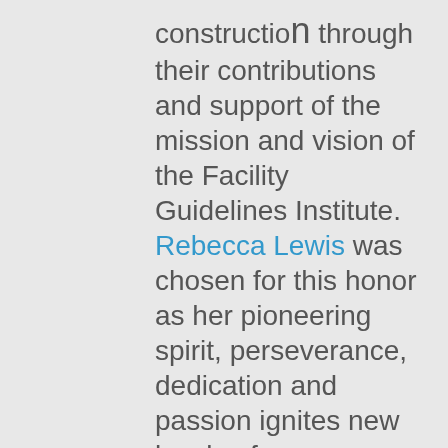construction through their contributions and support of the mission and vision of the Facility Guidelines Institute. Rebecca Lewis was chosen for this honor as her pioneering spirit, perseverance, dedication and passion ignites new levels of performance.
“If one were to define commitment,” writes fellow HGRC member Joseph Sprague, “you would start with Rebecca Lewis. Not only is Rebecca a credit to her profession but she’s also a person of high integrity